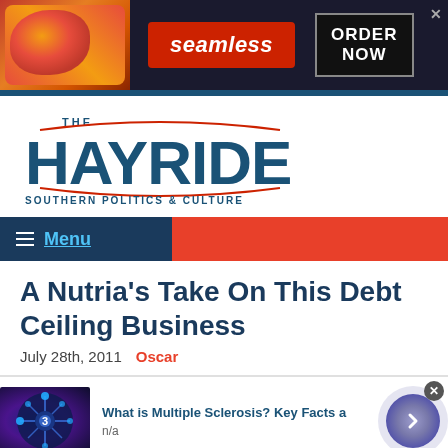[Figure (photo): Seamless food delivery advertisement banner with pizza image, red Seamless logo, and ORDER NOW button on dark background]
[Figure (logo): The Hayride logo — large bold blue HAYRIDE text with 'THE' above and red arc decorations, tagline SOUTHERN POLITICS & CULTURE]
≡ Menu
A Nutria's Take On This Debt Ceiling Business
July 28th, 2011   Oscar
[Figure (photo): Advertisement for Multiple Sclerosis information — blue neural/scientific image on left, text 'What is Multiple Sclerosis? Key Facts a' with 'n/a' below, purple arrow button on right]